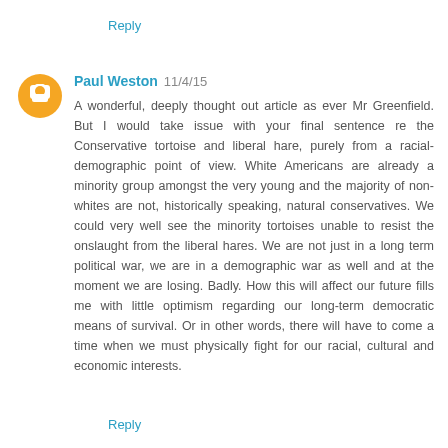Reply
Paul Weston 11/4/15
A wonderful, deeply thought out article as ever Mr Greenfield. But I would take issue with your final sentence re the Conservative tortoise and liberal hare, purely from a racial-demographic point of view. White Americans are already a minority group amongst the very young and the majority of non-whites are not, historically speaking, natural conservatives. We could very well see the minority tortoises unable to resist the onslaught from the liberal hares. We are not just in a long term political war, we are in a demographic war as well and at the moment we are losing. Badly. How this will affect our future fills me with little optimism regarding our long-term democratic means of survival. Or in other words, there will have to come a time when we must physically fight for our racial, cultural and economic interests.
Reply